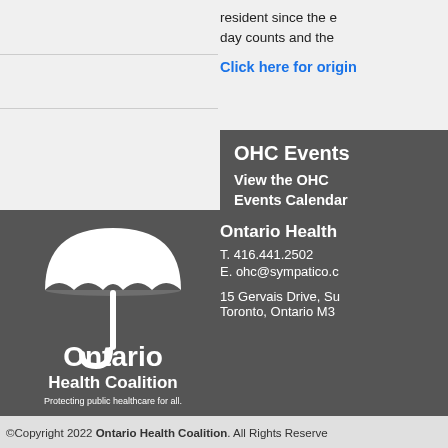resident since the e day counts and the
Click here for origin
OHC Events
View the OHC Events Calendar
[Figure (logo): Ontario Health Coalition logo with white umbrella icon above 'Ontario Health Coalition — Protecting public healthcare for all.' text on dark grey background]
Ontario Health
T. 416.441.2502
E. ohc@sympatico.c
15 Gervais Drive, Su
Toronto, Ontario M3
©Copyright 2022 Ontario Health Coalition. All Rights Reserved